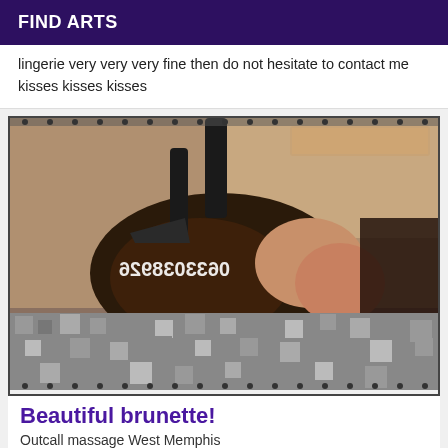FIND ARTS
lingerie very very very fine then do not hesitate to contact me kisses kisses kisses
[Figure (photo): Blurred/pixelated adult content photo with a phone number overlaid (0633038926 mirrored). Lower portion heavily pixelated/censored.]
Beautiful brunette!
Outcall massage West Memphis